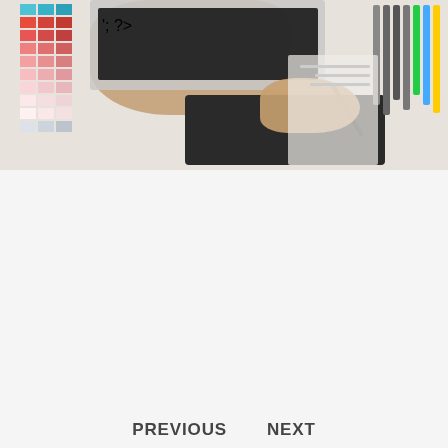[Figure (photo): Overhead view of a designer working at a desk with color swatches, a laptop, a graphics tablet with stylus, and markers/pens on the right side.]
What is visual communication and why is it important?
July 26, 2022
What is visual communication and why is it important? Visual communication is a process of exchanging information by way of images. Images can be used
READ MORE
PREVIOUS   NEXT